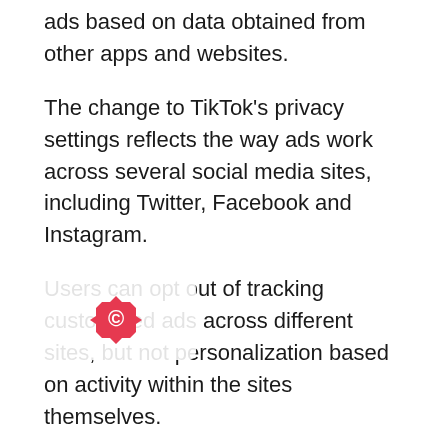ads based on data obtained from other apps and websites.
The change to TikTok's privacy settings reflects the way ads work across several social media sites, including Twitter, Facebook and Instagram.
Users can opt out of tracking customized ads across different sites, but not personalization based on activity within the sites themselves.
The change is likely related to Apple's upcoming release of iOS 14, which requires developers to obtain permission for users to track their data across apps for targeted ads.
Any apps that do not request permission to be removed...